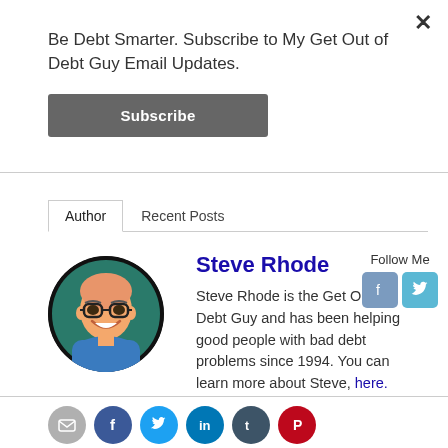Be Debt Smarter. Subscribe to My Get Out of Debt Guy Email Updates.
Subscribe
Author
Recent Posts
[Figure (illustration): Circular avatar illustration of Steve Rhode, a cartoon-style bald man with glasses and a blue shirt, smiling]
Steve Rhode
Follow Me
Steve Rhode is the Get Out of Debt Guy and has been helping good people with bad debt problems since 1994. You can learn more about Steve, here.
[Figure (infographic): Row of social sharing icons: email (gray), Facebook (blue), Twitter (light blue), LinkedIn (dark blue), Tumblr (dark slate), Pinterest (red)]